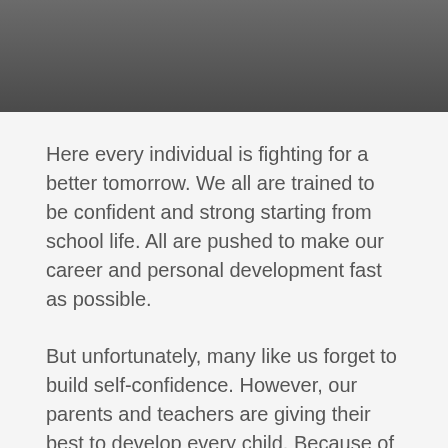Here every individual is fighting for a better tomorrow. We all are trained to be confident and strong starting from school life. All are pushed to make our career and personal development fast as possible.
But unfortunately, many like us forget to build self-confidence. However, our parents and teachers are giving their best to develop every child. Because of huge competition for a bright future, such nourishment is lacking. Children from a very